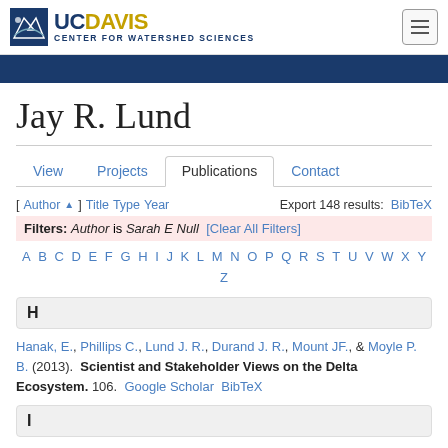UC Davis Center for Watershed Sciences
Jay R. Lund
View | Projects | Publications | Contact
[ Author▲ ] Title Type Year   Export 148 results: BibTeX
Filters: Author is Sarah E Null [Clear All Filters]
A B C D E F G H I J K L M N O P Q R S T U V W X Y Z
H
Hanak, E., Phillips C., Lund J. R., Durand J. R., Mount JF., & Moyle P. B. (2013).  Scientist and Stakeholder Views on the Delta Ecosystem. 106.   Google Scholar   BibTeX
I